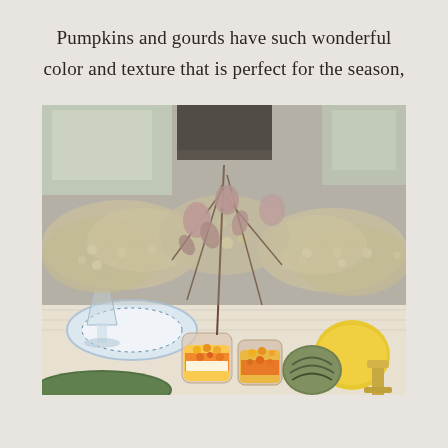Pumpkins and gourds have such wonderful color and texture that is perfect for the season,
[Figure (photo): A fall table centerpiece featuring dried hydrangea flowers in muted cream and mauve tones, arranged in glass vases filled with colorful candy corn and mixed candies. A green and white striped gourd and a yellow gourd are visible on the right. Blue and white china plates and crystal glassware are set on the table.]